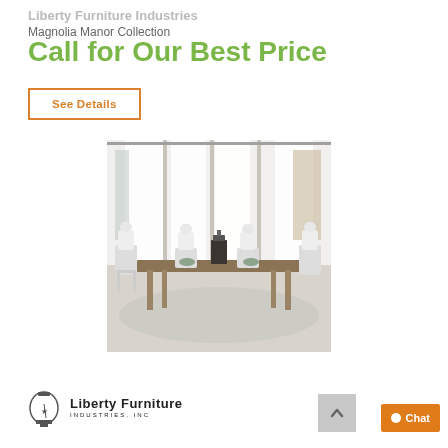Liberty Furniture Industries
Magnolia Manor Collection
Call for Our Best Price
See Details
[Figure (photo): Dining room set from the Magnolia Manor Collection showing a white dining table with ornate white chairs and a dark lantern centerpiece, with large windows and sheer curtains in the background]
[Figure (logo): Liberty Furniture Industries, Inc. logo with bell icon]
Chat